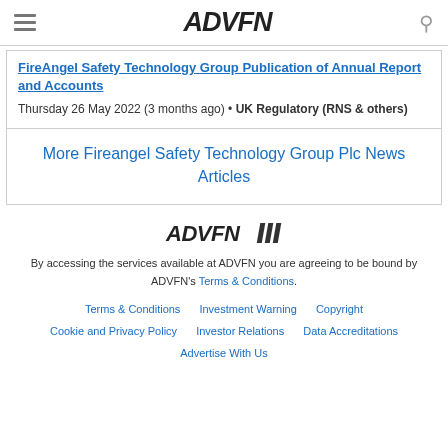ADVFN
FireAngel Safety Technology Group Publication of Annual Report and Accounts
Thursday 26 May 2022 (3 months ago) • UK Regulatory (RNS & others)
More Fireangel Safety Technology Group Plc News Articles
[Figure (logo): ADVFN logo with diagonal bar marks]
By accessing the services available at ADVFN you are agreeing to be bound by ADVFN's Terms & Conditions.
Terms & Conditions   Investment Warning   Copyright   Cookie and Privacy Policy   Investor Relations   Data Accreditations   Advertise With Us